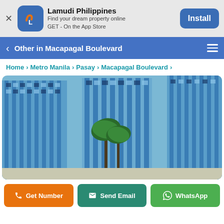[Figure (screenshot): Lamudi Philippines app banner with logo icon, app name, tagline, and Install button]
Other in Macapagal Boulevard
Home > Metro Manila > Pasay > Macapagal Boulevard >
[Figure (photo): Exterior photo of blue high-rise condominium buildings in Macapagal Boulevard, Pasay, Metro Manila with palm trees in foreground]
Get Number | Send Email | WhatsApp